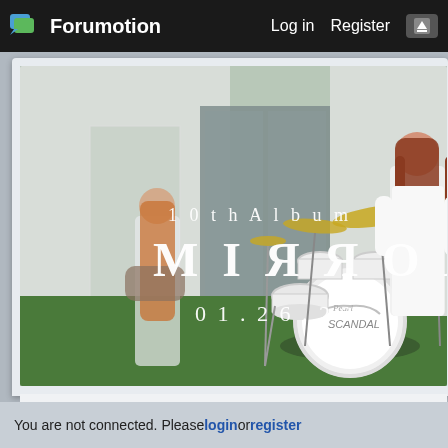Forumotion   Log in   Register
[Figure (photo): SCANDAL band promotional photo for 10th Album MIRROR (01.26.22). Shows band members playing instruments outdoors on grass in front of a white building. Text overlay reads '10th Album' and 'MIRROR' with date '01.26.22'. A Pearl drum kit with SCANDAL logo is visible.]
HOME   FORUM   SEA
You are not connected. Please login or register